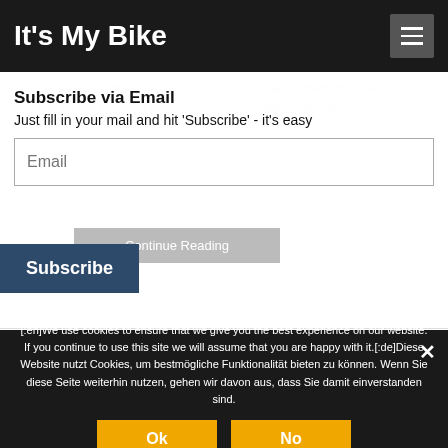It's My Bike
die ersten Wochen auf und es goss aus Eimern und ab und zu gefroren.
had to check this info out. It was also…
Subscribe via Email
Just fill in your mail and hit 'Subscribe' - it's easy
Email
Subscribe
Continue Reading
[:en]We use cookies to ensure that we give you the best experience on our website. If you continue to use this site we will assume that you are happy with it.[:de]Diese Website nutzt Cookies, um bestmögliche Funktionalität bieten zu können. Wenn Sie diese Seite weiterhin nutzen, gehen wir davon aus, dass Sie damit einverstanden sind.
Ok
No